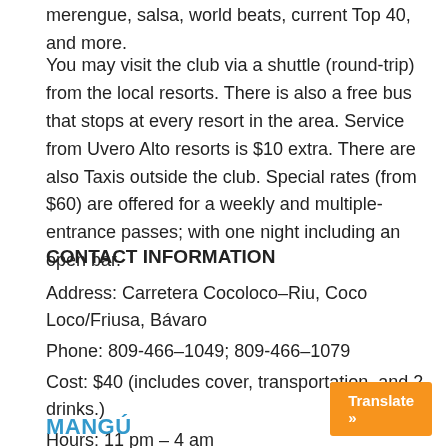merengue, salsa, world beats, current Top 40, and more.
You may visit the club via a shuttle (round-trip) from the local resorts. There is also a free bus that stops at every resort in the area. Service from Uvero Alto resorts is $10 extra. There are also Taxis outside the club. Special rates (from $60) are offered for a weekly and multiple-entrance passes; with one night including an open bar.
CONTACT INFORMATION
Address: Carretera Cocoloco–Riu, Coco Loco/Friusa, Bávaro
Phone: 809-466–1049; 809-466–1079
Cost: $40 (includes cover, transportation, and 2 drinks.)
Hours: 11 pm – 4 am
Website: www.imaginepuntacana.com
Location: Punta Cana
MANGÚ